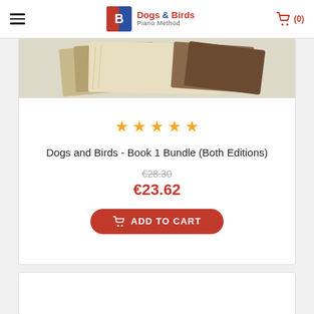Dogs & Birds Piano Method — navigation header with hamburger menu and cart (0)
[Figure (photo): Partial view of book covers fanned out on a light background]
★★★★★
Dogs and Birds - Book 1 Bundle (Both Editions)
€28.30 (original price, struck through)
€23.62
ADD TO CART